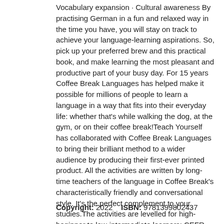Vocabulary expansion · Cultural awareness By practising German in a fun and relaxed way in the time you have, you will stay on track to achieve your language-learning aspirations. So, pick up your preferred brew and this practical book, and make learning the most pleasant and productive part of your busy day. For 15 years Coffee Break Languages has helped make it possible for millions of people to learn a language in a way that fits into their everyday life: whether that's while walking the dog, at the gym, or on their coffee break!Teach Yourself has collaborated with Coffee Break Languages to bring their brilliant method to a wider audience by producing their first-ever printed product. All the activities are written by long-time teachers of the language in Coffee Break's characteristically friendly and conversational style. It's the perfect complement to your studies.The activities are levelled for high-beginner to low-intermediate learners: CEFR A2-B1 and ACTFL Intermediate-low/mid
Copyright: 2022    ISBN: 9781399802437